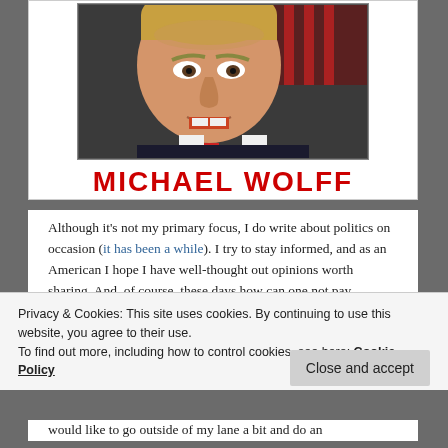[Figure (photo): Photo of a man speaking with an American flag in background, with text 'MICHAEL WOLFF' in large red bold letters below the photo, forming a book cover or profile image.]
Although it's not my primary focus, I do write about politics on occasion (it has been a while). I try to stay informed, and as an American I hope I have well-thought out opinions worth sharing. And, of course, these days how can one not pay attention!
Privacy & Cookies: This site uses cookies. By continuing to use this website, you agree to their use.
To find out more, including how to control cookies, see here: Cookie Policy
would like to go outside of my lane a bit and do an